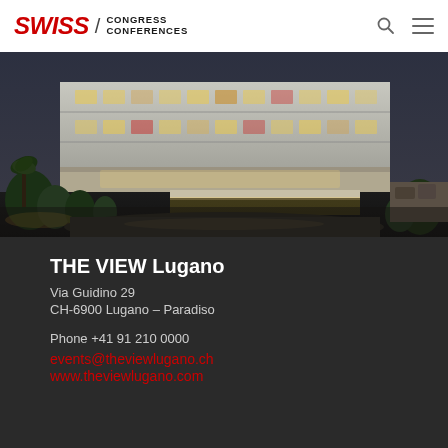SWISS / CONGRESS CONFERENCES
[Figure (photo): Exterior night photo of THE VIEW Lugano hotel building showing lit terraces, modern architecture with vegetation in foreground]
THE VIEW Lugano
Via Guidino 29
CH-6900 Lugano – Paradiso
Phone +41 91 210 0000
events@theviewlugano.ch
www.theviewlugano.com